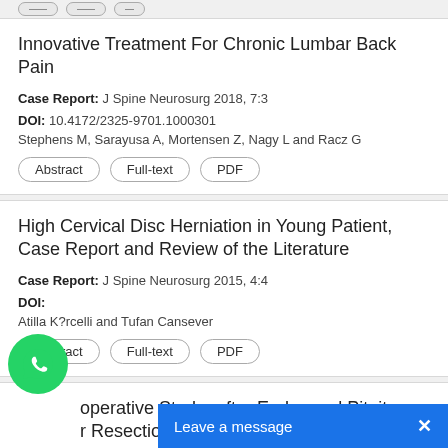Innovative Treatment For Chronic Lumbar Back Pain
Case Report: J Spine Neurosurg 2018, 7:3
DOI: 10.4172/2325-9701.1000301
Stephens M, Sarayusa A, Mortensen Z, Nagy L and Racz G
Abstract | Full-text | PDF
High Cervical Disc Herniation in Young Patient, Case Report and Review of the Literature
Case Report: J Spine Neurosurg 2015, 4:4
DOI:
Atilla K?rcelli and Tufan Cansever
Abstract | Full-text | PDF
...operative Stroke after Endonasal Pituitary ...or Resection: A Case Report
Case Report: J Spine Neurosurg 2015, 4:3
DOI: